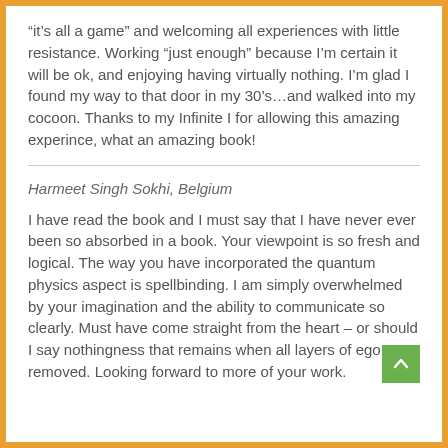“it’s all a game” and welcoming all experiences with little resistance. Working “just enough” because I’m certain it will be ok, and enjoying having virtually nothing. I’m glad I found my way to that door in my 30’s…and walked into my cocoon. Thanks to my Infinite I for allowing this amazing experince, what an amazing book!
Harmeet Singh Sokhi, Belgium
I have read the book and I must say that I have never ever been so absorbed in a book. Your viewpoint is so fresh and logical. The way you have incorporated the quantum physics aspect is spellbinding. I am simply overwhelmed by your imagination and the ability to communicate so clearly. Must have come straight from the heart – or should I say nothingness that remains when all layers of ego are removed. Looking forward to more of your work.